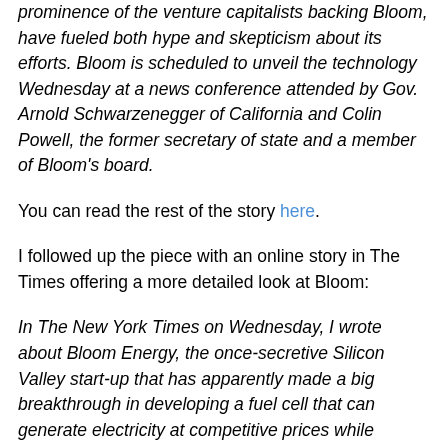prominence of the venture capitalists backing Bloom, have fueled both hype and skepticism about its efforts. Bloom is scheduled to unveil the technology Wednesday at a news conference attended by Gov. Arnold Schwarzenegger of California and Colin Powell, the former secretary of state and a member of Bloom's board.
You can read the rest of the story here.
I followed up the piece with an online story in The Times offering a more detailed look at Bloom:
In The New York Times on Wednesday, I wrote about Bloom Energy, the once-secretive Silicon Valley start-up that has apparently made a big breakthrough in developing a fuel cell that can generate electricity at competitive prices while minimizing greenhouse gas emissions.